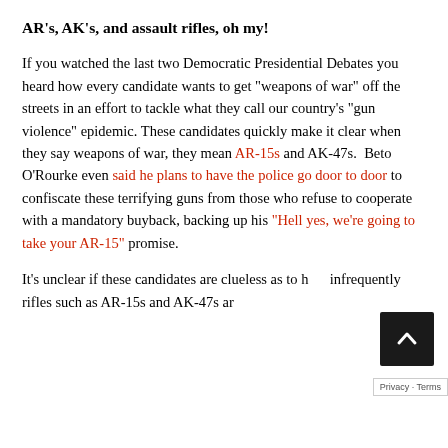AR's, AK's, and assault rifles, oh my!
If you watched the last two Democratic Presidential Debates you heard how every candidate wants to get “weapons of war” off the streets in an effort to tackle what they call our country’s “gun violence” epidemic. These candidates quickly make it clear when they say weapons of war, they mean AR-15s and AK-47s. Beto O’Rourke even said he plans to have the police go door to door to confiscate these terrifying guns from those who refuse to cooperate with a mandatory buyback, backing up his “Hell yes, we’re going to take your AR-15” promise.
It’s unclear if these candidates are clueless as to how infrequently rifles such as AR-15s and AK-47s ar…